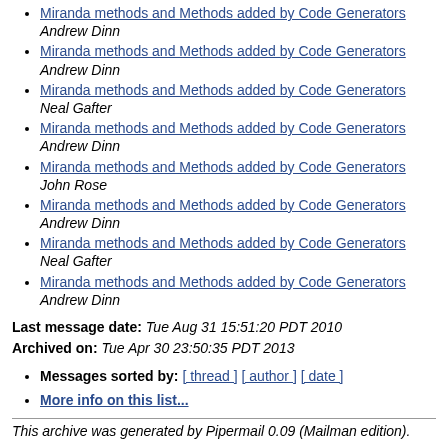Miranda methods and Methods added by Code Generators Andrew Dinn
Miranda methods and Methods added by Code Generators Andrew Dinn
Miranda methods and Methods added by Code Generators Neal Gafter
Miranda methods and Methods added by Code Generators Andrew Dinn
Miranda methods and Methods added by Code Generators John Rose
Miranda methods and Methods added by Code Generators Andrew Dinn
Miranda methods and Methods added by Code Generators Neal Gafter
Miranda methods and Methods added by Code Generators Andrew Dinn
Last message date: Tue Aug 31 15:51:20 PDT 2010
Archived on: Tue Apr 30 23:50:35 PDT 2013
Messages sorted by: [ thread ] [ author ] [ date ]
More info on this list...
This archive was generated by Pipermail 0.09 (Mailman edition).